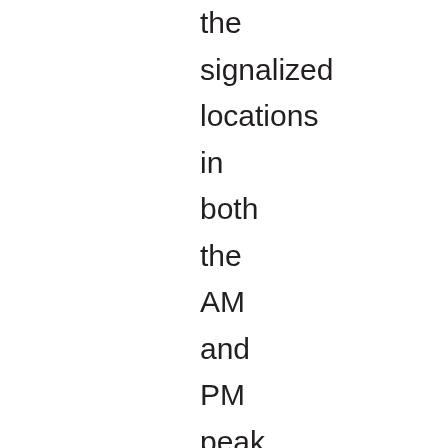the signalized locations in both the AM and PM peak hours for the three interchanges. In general, all the signalized locations were assessed